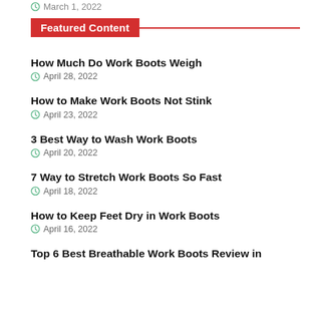March 1, 2022
Featured Content
How Much Do Work Boots Weigh — April 28, 2022
How to Make Work Boots Not Stink — April 23, 2022
3 Best Way to Wash Work Boots — April 20, 2022
7 Way to Stretch Work Boots So Fast — April 18, 2022
How to Keep Feet Dry in Work Boots — April 16, 2022
Top 6 Best Breathable Work Boots Review in